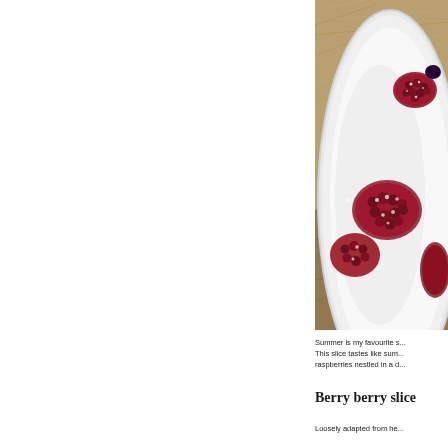[Figure (photo): A white plate with raspberries dusted with powdered sugar, placed on a bed of straw/hay. Photo is cropped showing right portion of the image.]
Summer is my favourite s... This slice tastes like sum... raspberries nestled in a d...
Berry berry slice
Loosely adapted from he...